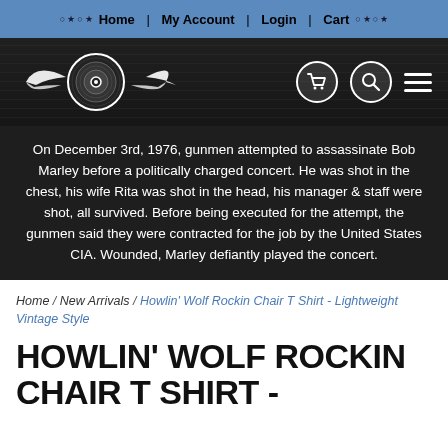Home | My Account | Login | Cart
[Figure (logo): Winged vinyl record logo with shopping cart, search, and hamburger menu icons on dark textured banner]
On December 3rd, 1976, gunmen attempted to assassinate Bob Marley before a politically charged concert. He was shot in the chest, his wife Rita was shot in the head, his manager & staff were shot, all survived. Before being executed for the attempt, the gunmen said they were contracted for the job by the United States CIA. Wounded, Marley defiantly played the concert.
Home / New Arrivals / Howlin' Wolf Rockin Chair T Shirt - Lightweight Vintage Style
HOWLIN' WOLF ROCKIN CHAIR T SHIRT -